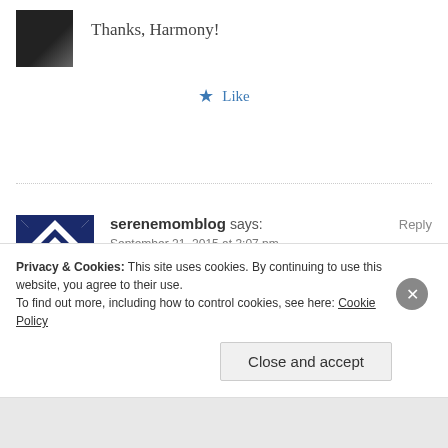Thanks, Harmony!
Like
serenemomblog says:
Reply
September 21, 2015 at 3:07 pm
This is so beautiful, and I'm beginning to feel
Privacy & Cookies: This site uses cookies. By continuing to use this website, you agree to their use.
To find out more, including how to control cookies, see here: Cookie Policy
Close and accept